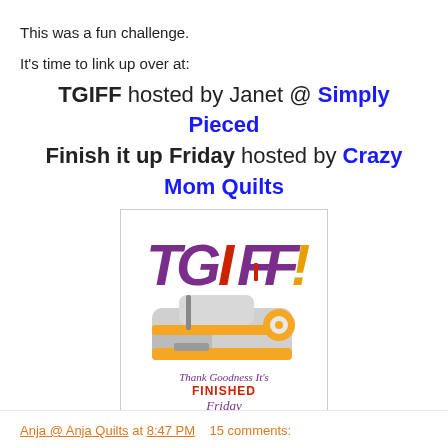This was a fun challenge.
It's time to link up over at:
TGIFF hosted by Janet @ Simply Pieced Finish it up Friday hosted by Crazy Mom Quilts
[Figure (logo): TGIFF logo with a sewing machine and text 'Thank Goodness It's FINISHED Friday']
Anja @ Anja Quilts at 8:47 PM   15 comments: